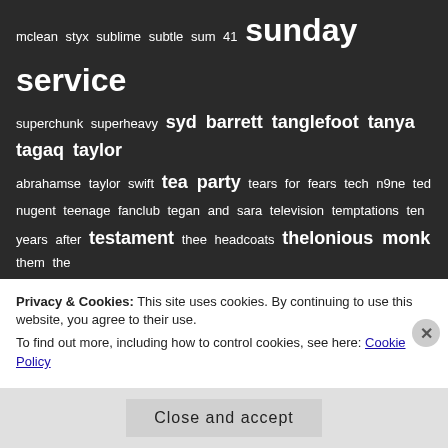mclean styx sublime subtle sum 41 sunday service superchunk superheavy syd barrett tanglefoot tanya tagaq taylor abrahamse taylor swift tea party tears for fears tech n9ne ted nugent teenage fanclub tegan and sara television temptations ten years after testament thee headcoats thelonious monk them the rocker the weather station the weeknd they might be giants thin lizzy thom yorke thrush hermit tif ginn tim armstrong tim bogert tim durling tim ronan tina peel tinariwen tito puente tolan mcneil tom cochrane tom morello tom petty tom petty and the heartbreakers tom waits tony bennett tony iommi tool
Privacy & Cookies: This site uses cookies. By continuing to use this website, you agree to their use. To find out more, including how to control cookies, see here: Cookie Policy
Close and accept